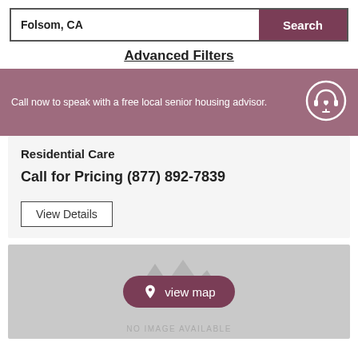Folsom, CA
Search
Advanced Filters
Call now to speak with a free local senior housing advisor.
Residential Care
Call for Pricing (877) 892-7839
View Details
[Figure (other): Gray placeholder image with mountain silhouette icon and 'NO IMAGE AVAILABLE' text. Contains a 'view map' button with map icon.]